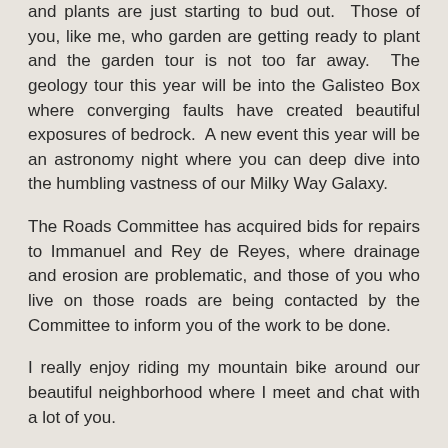and plants are just starting to bud out. Those of you, like me, who garden are getting ready to plant and the garden tour is not too far away. The geology tour this year will be into the Galisteo Box where converging faults have created beautiful exposures of bedrock. A new event this year will be an astronomy night where you can deep dive into the humbling vastness of our Milky Way Galaxy.
The Roads Committee has acquired bids for repairs to Immanuel and Rey de Reyes, where drainage and erosion are problematic, and those of you who live on those roads are being contacted by the Committee to inform you of the work to be done.
I really enjoy riding my mountain bike around our beautiful neighborhood where I meet and chat with a lot of you.
Hope to see you all soon,
Dennis McQuillan